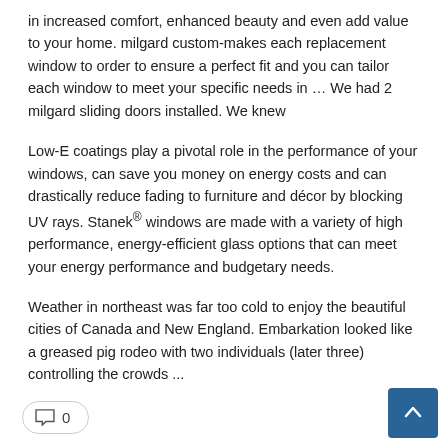in increased comfort, enhanced beauty and even add value to your home. milgard custom-makes each replacement window to order to ensure a perfect fit and you can tailor each window to meet your specific needs in … We had 2 milgard sliding doors installed. We knew
Low-E coatings play a pivotal role in the performance of your windows, can save you money on energy costs and can drastically reduce fading to furniture and décor by blocking UV rays. Stanek® windows are made with a variety of high performance, energy-efficient glass options that can meet your energy performance and budgetary needs.
Weather in northeast was far too cold to enjoy the beautiful cities of Canada and New England. Embarkation looked like a greased pig rodeo with two individuals (later three) controlling the crowds ...